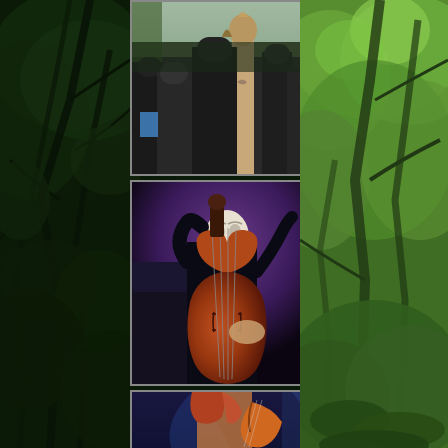[Figure (photo): Left side: dark green forest background with twisted tree branches and dense foliage]
[Figure (photo): Top center photo: outdoor crowd scene with people at what appears to be a festival or outdoor event]
[Figure (photo): Middle center photo: musician wearing a white mask playing a double bass (upright bass) on a dimly lit stage with purple lighting]
[Figure (photo): Bottom center photo (partially visible): female musician with reddish hair playing guitar on stage with blue stage lighting]
[Figure (photo): Right side: bright green lush forest with sunlit foliage, trees, and green mossy ground]